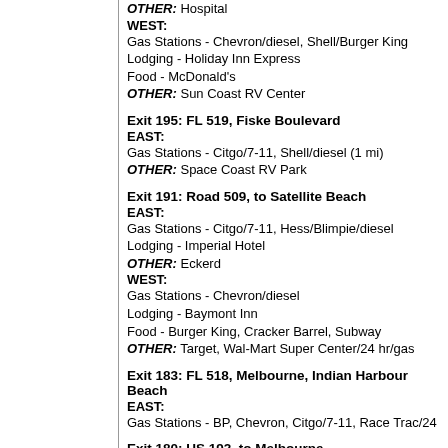OTHER: Hospital
WEST:
Gas Stations - Chevron/diesel, Shell/Burger King
Lodging - Holiday Inn Express
Food - McDonald's
OTHER: Sun Coast RV Center
Exit 195: FL 519, Fiske Boulevard
EAST:
Gas Stations - Citgo/7-11, Shell/diesel (1 mi)
OTHER: Space Coast RV Park
Exit 191: Road 509, to Satellite Beach
EAST:
Gas Stations - Citgo/7-11, Hess/Blimpie/diesel
Lodging - Imperial Hotel
OTHER: Eckerd
WEST:
Gas Stations - Chevron/diesel
Lodging - Baymont Inn
Food - Burger King, Cracker Barrel, Subway
OTHER: Target, Wal-Mart Super Center/24 hr/gas
Exit 183: FL 518, Melbourne, Indian Harbour Beach
EAST:
Gas Stations - BP, Chevron, Citgo/7-11, Race Trac/24
Exit 180: US 192, to Melbourne
EAST:
Gas Stations - BP/diesel, Circle K/gas, Citgo/7-11, Mo